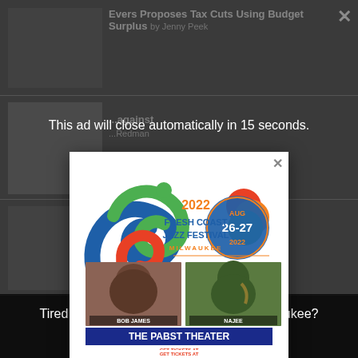Evers Proposes Tax Cuts Using Budget Surplus by Jenny Peek
This ad will close automatically in 15 seconds.
[Figure (photo): 2022 Fresh Coast Jazz Festival advertisement. Shows a music-note style logo, the text '2022 FRESH COAST JAZZ FESTIVAL MILWAUKEE', a blue circle badge with 'AUG 26-27 2022', photos of musicians Bob James and Najee, a dark blue banner reading 'THE PABST THEATER', and website URLs freshcoastjazz.com + pabsttheatergroup.com]
against
Redman
Brewery
by Jeramey Jannene
Tired of seeing banner ads on Urban Milwaukee?
Become a member for $9/month.